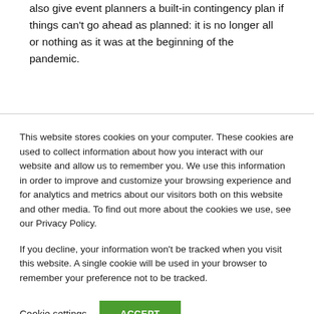also give event planners a built-in contingency plan if things can't go ahead as planned: it is no longer all or nothing as it was at the beginning of the pandemic.
This website stores cookies on your computer. These cookies are used to collect information about how you interact with our website and allow us to remember you. We use this information in order to improve and customize your browsing experience and for analytics and metrics about our visitors both on this website and other media. To find out more about the cookies we use, see our Privacy Policy.
If you decline, your information won't be tracked when you visit this website. A single cookie will be used in your browser to remember your preference not to be tracked.
Cookie settings
ACCEPT